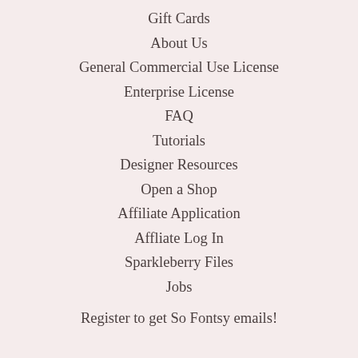Gift Cards
About Us
General Commercial Use License
Enterprise License
FAQ
Tutorials
Designer Resources
Open a Shop
Affiliate Application
Affliate Log In
Sparkleberry Files
Jobs
Register to get So Fontsy emails!